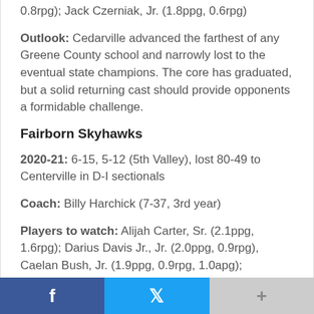0.8rpg); Jack Czerniak, Jr. (1.8ppg, 0.6rpg)
Outlook: Cedarville advanced the farthest of any Greene County school and narrowly lost to the eventual state champions. The core has graduated, but a solid returning cast should provide opponents a formidable challenge.
Fairborn Skyhawks
2020-21: 6-15, 5-12 (5th Valley), lost 80-49 to Centerville in D-I sectionals
Coach: Billy Harchick (7-37, 3rd year)
Players to watch: Alijah Carter, Sr. (2.1ppg, 1.6rpg); Darius Davis Jr., Jr. (2.0ppg, 0.9rpg), Caelan Bush, Jr. (1.9ppg, 0.9rpg, 1.0apg);
Outlook: 85 percent of the team's scoring has graduated
f  [Twitter icon]  +